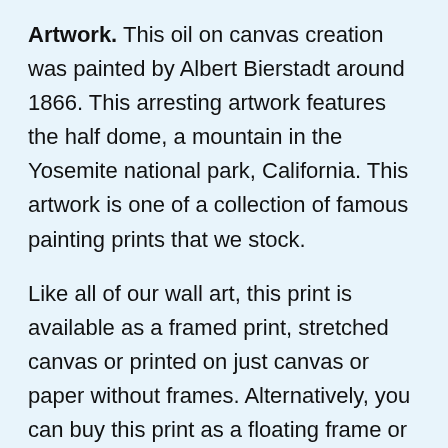Artwork. This oil on canvas creation was painted by Albert Bierstadt around 1866. This arresting artwork features the half dome, a mountain in the Yosemite national park, California. This artwork is one of a collection of famous painting prints that we stock.
Like all of our wall art, this print is available as a framed print, stretched canvas or printed on just canvas or paper without frames. Alternatively, you can buy this print as a floating frame or wall decal (wall sticker format) You purchase will be delivered promptly, perfectly packaged and will arrive ready to hang.